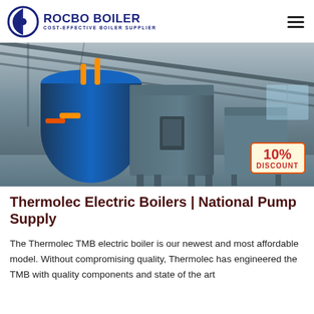ROCBO BOILER — COST-EFFECTIVE BOILER SUPPLIER
[Figure (photo): Industrial boiler facility interior showing a large blue cylindrical boiler and gray rectangular electric boiler units inside a steel-framed warehouse. A 10% DISCOUNT badge is overlaid in the lower right corner.]
Thermolec Electric Boilers | National Pump Supply
The Thermolec TMB electric boiler is our newest and most affordable model. Without compromising quality, Thermolec has engineered the TMB with quality components and state of the art